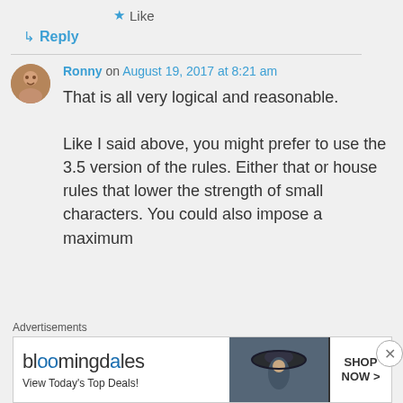★ Like
↳ Reply
Ronny on August 19, 2017 at 8:21 am
That is all very logical and reasonable. Like I said above, you might prefer to use the 3.5 version of the rules. Either that or house rules that lower the strength of small characters. You could also impose a maximum
Advertisements
[Figure (other): Bloomingdale's advertisement banner: 'View Today's Top Deals!' with SHOP NOW > button and image of woman in hat]